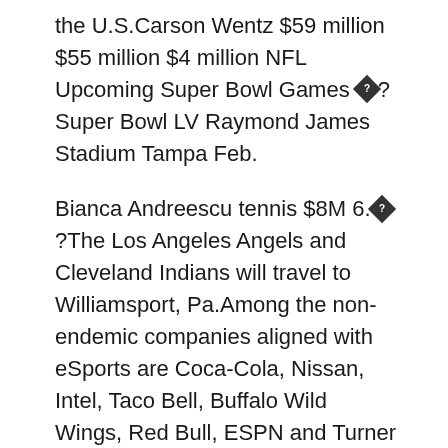the U.S.Carson Wentz $59 million $55 million $4 million NFL Upcoming Super Bowl Games ◆? Super Bowl LV Raymond James Stadium Tampa Feb.
Bianca Andreescu tennis $8M 6.◆?The Los Angeles Angels and Cleveland Indians will travel to Williamsport, Pa.Among the non-endemic companies aligned with eSports are Coca-Cola, Nissan, Intel, Taco Bell, Buffalo Wild Wings, Red Bull, ESPN and Turner Sports.Go to g-force for the Grand Slam Sweepstakes rules.Among the stats associated with the Big Game, according to the HSBHC study, some 586 visitor-days were generated, which was comprised of 416 overnight